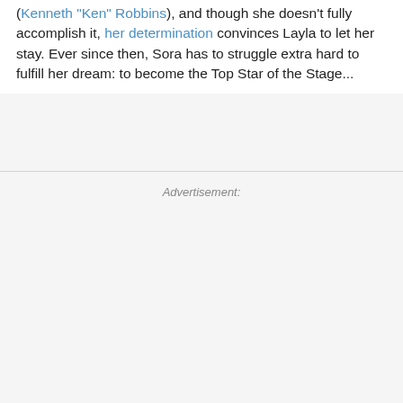(Kenneth "Ken" Robbins), and though she doesn't fully accomplish it, her determination convinces Layla to let her stay. Ever since then, Sora has to struggle extra hard to fulfill her dream: to become the Top Star of the Stage...
Advertisement: